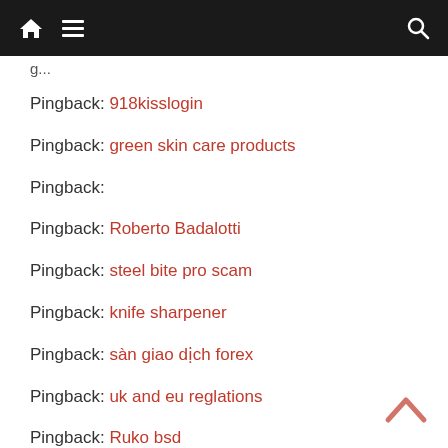Navigation bar with home, menu, and search icons
Pingback: 918kisslogin
Pingback: green skin care products
Pingback:
Pingback: Roberto Badalotti
Pingback: steel bite pro scam
Pingback: knife sharpener
Pingback: sàn giao dịch forex
Pingback: uk and eu reglations
Pingback: Ruko bsd
Pingback: sistemo do copiat